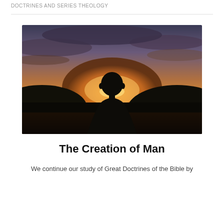DOCTRINES AND SERIES THEOLOGY
[Figure (photo): Silhouette of a person viewed from behind, standing against a dramatic sunset sky with orange and golden hues and dark landscape in the background.]
The Creation of Man
We continue our study of Great Doctrines of the Bible by